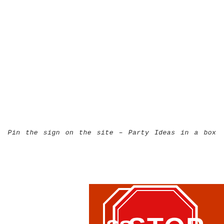Pin the sign on the site – Party Ideas in a box
[Figure (photo): Photograph of red and white STOP signs (octagonal road signs) and rectangular white road signs on an orange background]